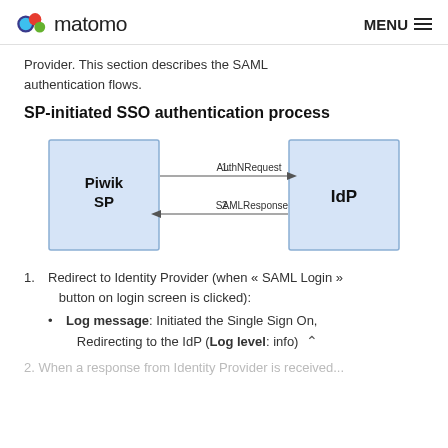matomo | MENU
Provider. This section describes the SAML authentication flows.
SP-initiated SSO authentication process
[Figure (flowchart): Flowchart showing SP-initiated SSO: Piwik SP box on left, IdP box on right. Arrow 1 from Piwik SP to IdP labeled AuthNRequest. Arrow 2 from IdP back to Piwik SP labeled SAMLResponse.]
1. Redirect to Identity Provider (when « SAML Login » button on login screen is clicked):
Log message: Initiated the Single Sign On, Redirecting to the IdP (Log level: info)
2. When a response from Identity Provider is received...